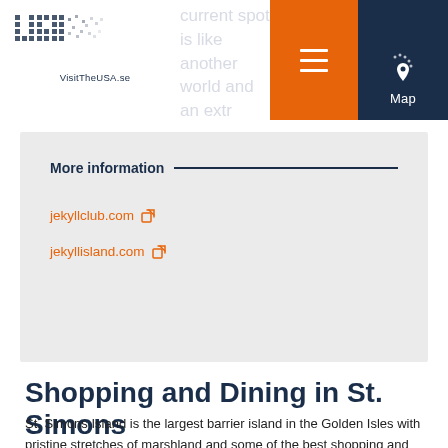VisitTheUSA.se
More information
jekyllclub.com
jekyllisland.com
Shopping and Dining in St. Simons
St. Simons Island is the largest barrier island in the Golden Isles with pristine stretches of marshland and some of the best shopping and dining options on the Georgia coast as